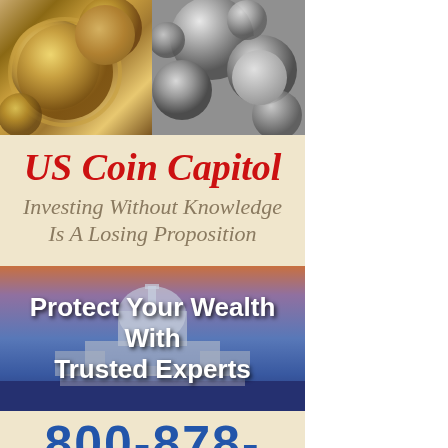[Figure (photo): Two side-by-side coin photos: left shows gold/bronze US dollar coins with Statue of Liberty, right shows silver coins piled together, on dark background]
US Coin Capitol
Investing Without Knowledge Is A Losing Proposition
[Figure (photo): US Capitol building at dusk/twilight with dramatic sky, overlaid with white bold text: Protect Your Wealth With Trusted Experts]
800-878-2646